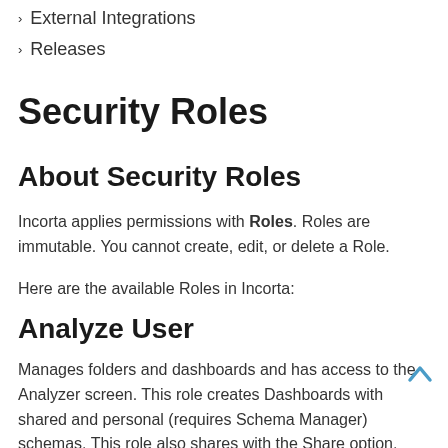External Integrations
Releases
Security Roles
About Security Roles
Incorta applies permissions with Roles. Roles are immutable. You cannot create, edit, or delete a Role.
Here are the available Roles in Incorta:
Analyze User
Manages folders and dashboards and has access to the Analyzer screen. This role creates Dashboards with shared and personal (requires Schema Manager) schemas. This role also shares with the Share option, shares through email, or schedules Dashboards for sharing using email.